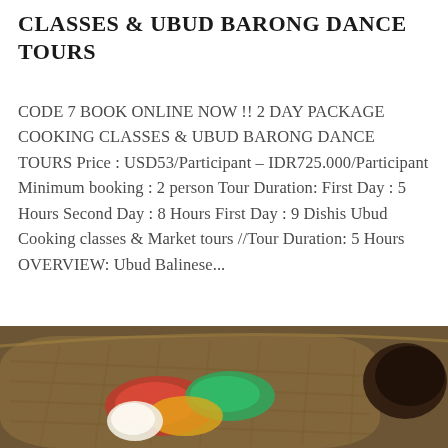CLASSES  & UBUD BARONG DANCE TOURS
CODE 7 BOOK ONLINE NOW !! 2 DAY PACKAGE COOKING CLASSES  & UBUD BARONG DANCE TOURS Price : USD53/Participant – IDR725.000/Participant Minimum booking  : 2 person Tour Duration: First Day : 5 Hours Second Day : 8 Hours  First Day : 9 Dishis Ubud Cooking classes & Market tours //Tour Duration: 5 Hours OVERVIEW: Ubud Balinese...
READ MORE
[Figure (photo): Photo of Balinese food in a woven basket — rice, vegetables with sauce, and a dark bowl visible to the right]